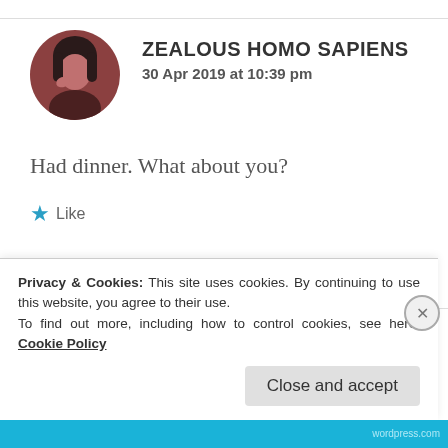ZEALOUS HOMO SAPIENS
30 Apr 2019 at 10:39 pm
Had dinner. What about you?
★ Like
[Figure (illustration): Circular avatar of a second commenter with colorful mandala/deity image, with garbled tofu characters as name and partially visible date]
Privacy & Cookies: This site uses cookies. By continuing to use this website, you agree to their use.
To find out more, including how to control cookies, see here: Cookie Policy
Close and accept